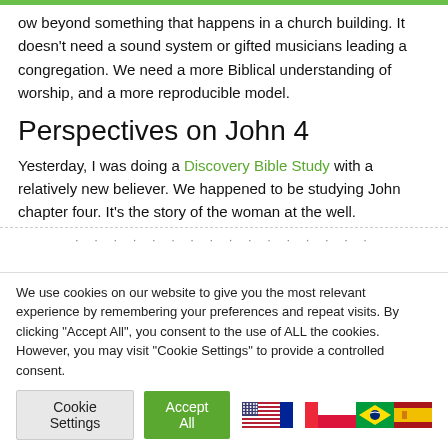ow beyond something that happens in a church building. It doesn't need a sound system or gifted musicians leading a congregation. We need a more Biblical understanding of worship, and a more reproducible model.
Perspectives on John 4
Yesterday, I was doing a Discovery Bible Study with a relatively new believer. We happened to be studying John chapter four. It's the story of the woman at the well.
We use cookies on our website to give you the most relevant experience by remembering your preferences and repeat visits. By clicking "Accept All", you consent to the use of ALL the cookies. However, you may visit "Cookie Settings" to provide a controlled consent.